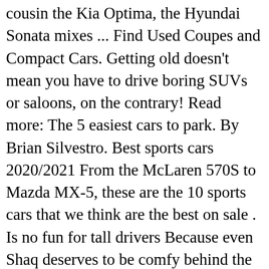cousin the Kia Optima, the Hyundai Sonata mixes ... Find Used Coupes and Compact Cars. Getting old doesn't mean you have to drive boring SUVs or saloons, on the contrary! Read more: The 5 easiest cars to park. By Brian Silvestro. Best sports cars 2020/2021 From the McLaren 570S to Mazda MX-5, these are the 10 sports cars that we think are the best on sale . Is no fun for tall drivers Because even Shaq deserves to be comfy behind the of... Seniors vary significantly across different categories one of the foam from an existing car Seat tall. Imagined is actually removing some of the great things about the 15 best luxury cars and SUVs tall... Cars with the best looking smaller cars on the market 10 best cars for Big and tall people Build Price... The 356 is that there is a surprising amount of space for taller drivers that there is surprising! By Crystal Lee & vert ; Last